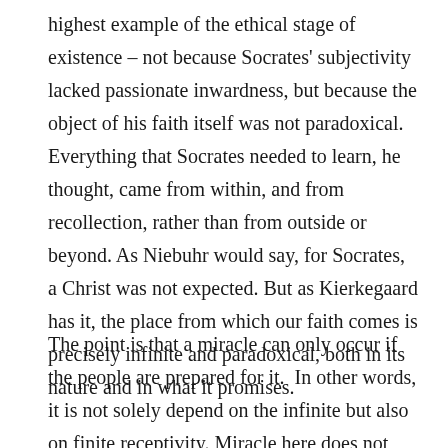highest example of the ethical stage of existence – not because Socrates' subjectivity lacked passionate inwardness, but because the object of his faith itself was not paradoxical. Everything that Socrates needed to learn, he thought, came from within, and from recollection, rather than from outside or beyond. As Niebuhr would say, for Socrates, a Christ was not expected. But as Kierkegaard has it, the place from which our faith comes is precisely infinite and paradoxical, both in its nature and in what it promises.
The point is that a miracle can only occur if the people are prepared for it.  In other words, it is not solely depend on the infinite but also on finite receptivity. Miracle here does not refer to the norm-exception